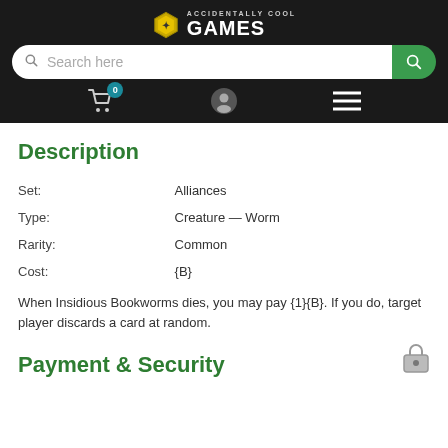Accidentally Cool Games — navigation header with search bar, cart, user, and menu icons
Description
| Label | Value |
| --- | --- |
| Set: | Alliances |
| Type: | Creature — Worm |
| Rarity: | Common |
| Cost: | {B} |
When Insidious Bookworms dies, you may pay {1}{B}. If you do, target player discards a card at random.
Payment & Security